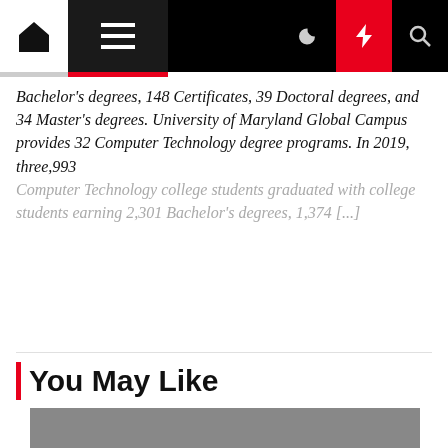Navigation bar with home icon, hamburger menu, moon icon, lightning bolt icon, and search icon
Bachelor's degrees, 148 Certificates, 39 Doctoral degrees, and 34 Master's degrees. University of Maryland Global Campus provides 32 Computer Technology degree programs. In 2019, three,993 Computer Technology college students graduated with college students earning 2,301 Bachelor's degrees, 1,374 [...]
You May Like
[Figure (photo): Gray placeholder image for a recommended article]